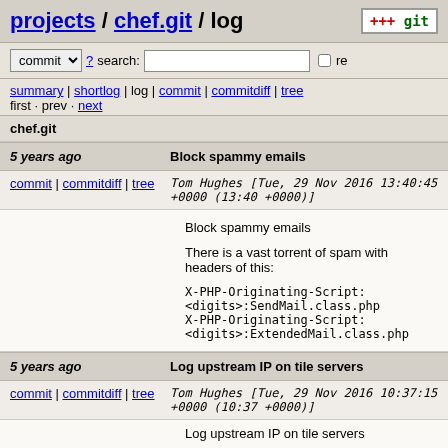projects / chef.git / log
commit ? search: re
summary | shortlog | log | commit | commitdiff | tree
first · prev · next
chef.git
5 years ago	Block spammy emails
commit | commitdiff | tree	Tom Hughes [Tue, 29 Nov 2016 13:40:45 +0000 (13:40 +0000)]
Block spammy emails

There is a vast torrent of spam with headers of this:

X-PHP-Originating-Script: <digits>:SendMail.class.php
X-PHP-Originating-Script: <digits>:ExtendedMail.class.php
5 years ago	Log upstream IP on tile servers
commit | commitdiff | tree	Tom Hughes [Tue, 29 Nov 2016 10:37:15 +0000 (10:37 +0000)]
Log upstream IP on tile servers